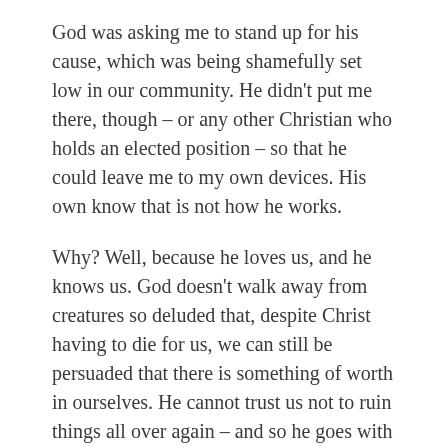God was asking me to stand up for his cause, which was being shamefully set low in our community. He didn't put me there, though – or any other Christian who holds an elected position – so that he could leave me to my own devices. His own know that is not how he works.
Why? Well, because he loves us, and he knows us. God doesn't walk away from creatures so deluded that, despite Christ having to die for us, we can still be persuaded that there is something of worth in ourselves. He cannot trust us not to ruin things all over again – and so he goes with us.
Abraham Lincoln said that adversity was not a true test of a man's character – his handling of power was. Sometimes, I have felt that, in my own small experience of (very limited) power, God is testing, not my character